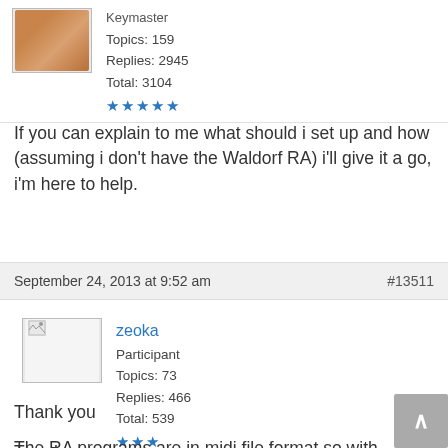[Figure (photo): Cat avatar photo (orange tabby cat) with user stats: Keymaster, Topics: 159, Replies: 2945, Total: 3104, 5 stars]
If you can explain to me what should i set up and how (assuming i don't have the Waldorf RA) i'll give it a go, i'm here to help.
September 24, 2013 at 9:52 am    #13511
[Figure (photo): Broken image placeholder for zeoka user avatar]
zeoka
Participant
Topics: 73
Replies: 466
Total: 539
★★★
Thank you
The RA programs are in midi file format so with reaper it's possible to send to Ctrlr single programs and see what's happen. It will be slightly different because